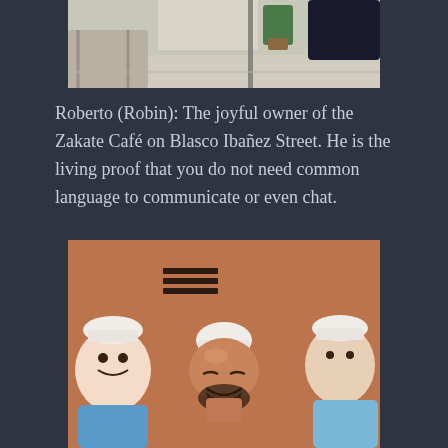[Figure (photo): Partial photo at top of page showing an outdoor cafe scene with a plant and chairs, cropped at top and bottom]
Roberto (Robin): The joyful owner of the Zakate Café on Blasco Ibañez Street. He is the living proof that you do not need common language to communicate or even chat.
[Figure (photo): Photo of a smiling bald man with a beard, surrounded by colorful cartoon character figures/murals, against a terracotta/orange-brown wall background]